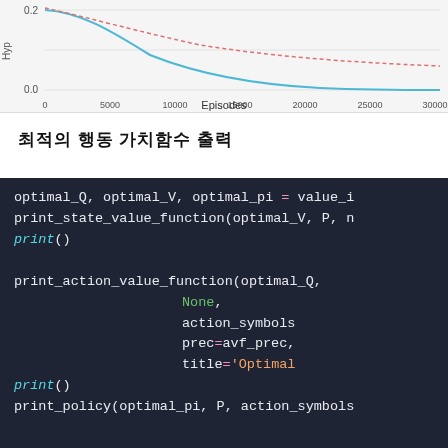[Figure (continuous-plot): Line chart showing hyperparameter decay over Episodes (x-axis 0 to 30000). Two curves visible: a blue solid curve decaying steeply from ~0.2 toward ~0.0, and a red dashed curve decaying more slowly from above 0.2 toward ~0.1. Y-axis shows 0.0 and 0.2 labels. X-axis labeled 'Episodes' with tick marks at 0, 5000, 10000, 15000, 20000, 25000, 30000.]
최적의 행동 가치함수 출력
[Figure (screenshot): Dark-background code block (Python syntax). Shows: optimal_Q, optimal_V, optimal_pi = value_i... / print_state_value_function(optimal_V, P, n... / print() / print_action_value_function(optimal_Q, / None, / action_symbols... / prec=avf_prec, / title='Optimal... / print() / print_policy(optimal_pi, P, action_symbols...]